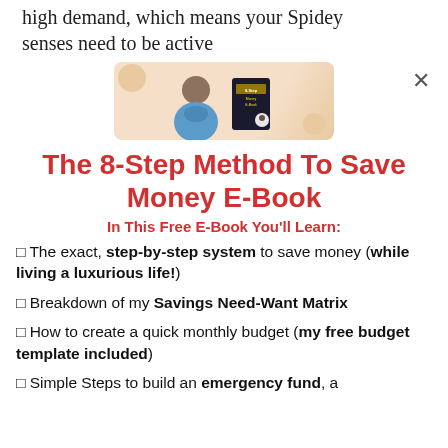high demand, which means your Spidey senses need to be active
[Figure (illustration): Promotional banner image for an e-book, showing a person and a book cover on a peach/tan background]
The 8-Step Method To Save Money E-Book
In This Free E-Book You'll Learn:
❑ The exact, step-by-step system to save money (while living a luxurious life!)
❑ Breakdown of my Savings Need-Want Matrix
❑ How to create a quick monthly budget (my free budget template included)
❑ Simple Steps to build an emergency fund, a